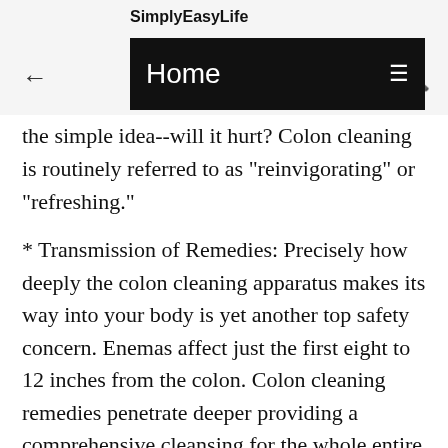SimplyEasyLife
the simple idea--will it hurt? Colon cleaning is routinely referred to as "reinvigorating" or "refreshing."
* Transmission of Remedies: Precisely how deeply the colon cleaning apparatus makes its way into your body is yet another top safety concern. Enemas affect just the first eight to 12 inches from the colon. Colon cleaning remedies penetrate deeper providing a comprehensive cleansing for the whole entire colon, but they are relatively safe if given by a hydrotherapy specialist.